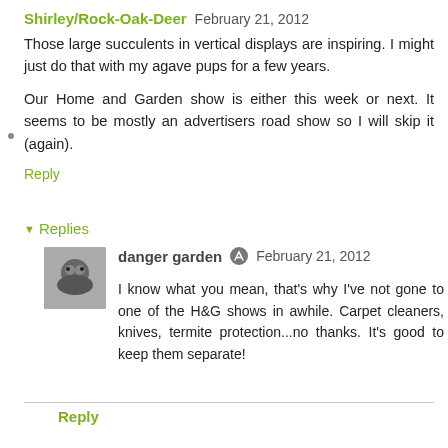Shirley/Rock-Oak-Deer  February 21, 2012
Those large succulents in vertical displays are inspiring. I might just do that with my agave pups for a few years.
Our Home and Garden show is either this week or next. It seems to be mostly an advertisers road show so I will skip it (again).
Reply
Replies
danger garden  February 21, 2012
I know what you mean, that's why I've not gone to one of the H&G shows in awhile. Carpet cleaners, knives, termite protection...no thanks. It's good to keep them separate!
Reply